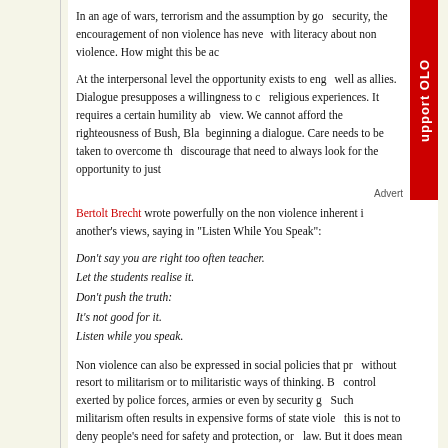In an age of wars, terrorism and the assumption by gov... security, the encouragement of non violence has never... with literacy about non violence. How might this be ach...
At the interpersonal level the opportunity exists to enga... well as allies. Dialogue presupposes a willingness to c... religious experiences. It requires a certain humility abo... view. We cannot afford the righteousness of Bush, Blai... beginning a dialogue. Care needs to be taken to overcome tha... discourage that need to always look for the opportunity to justi...
Advert
Bertolt Brecht wrote powerfully on the non violence inherent in... another's views, saying in "Listen While You Speak":
Don't say you are right too often teacher.
Let the students realise it.
Don't push the truth:
It's not good for it.
Listen while you speak.
Non violence can also be expressed in social policies that pro... without resort to militarism or to militaristic ways of thinking. By... control exerted by police forces, armies or even by security gu... Such militarism often results in expensive forms of state violen... this is not to deny people's need for safety and protection, or t... law. But it does mean that we should never be fooled into thin... budgets will produce peace with justice. On the contrary, in co... would be best enhanced by radical changes in social policies:... universal healthcare and a re-commitment to achieve full emp...